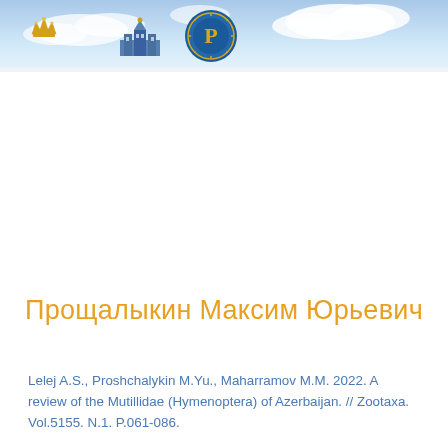[Figure (illustration): Page header with sky/clouds background image and three institutional logos: a golden crown/bee emblem, a blue building silhouette, and a circular blue-and-gold academic seal]
Прощалыкин Максим Юрьевич
Lelej A.S., Proshchalykin M.Yu., Maharramov M.M. 2022. A review of the Mutillidae (Hymenoptera) of Azerbaijan. // Zootaxa. Vol.5155. N.1. P.061-086.